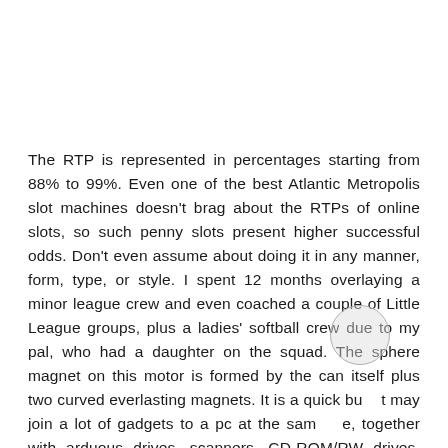The RTP is represented in percentages starting from 88% to 99%. Even one of the best Atlantic Metropolis slot machines doesn't brag about the RTPs of online slots, so such penny slots present higher successful odds. Don't even assume about doing it in any manner, form, type, or style. I spent 12 months overlaying a minor league crew and even coached a couple of Little League groups, plus a ladies' softball crew due to my pal, who had a daughter on the squad. The sphere magnet on this motor is formed by the can itself plus two curved everlasting magnets. It is a quick bu    t may join a lot of gadgets to a pc at the sam    e, together with arduous drives, scanners, CD-ROM/RW drives, printers, and tape drives.